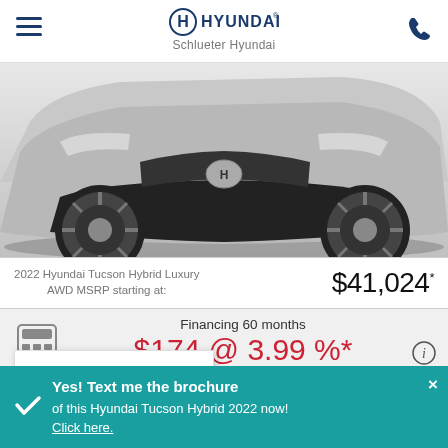Schlueter Hyundai
[Figure (photo): Front lower view of a white/silver Hyundai Tucson Hybrid SUV showing front bumper, grille, and left wheel on a light grey background]
2022 Hyundai Tucson Hybrid Luxury AWD MSRP starting at: $41,024*
Financing 60 months $174 @ 3.99%* /wk $0 cash down
VALUE YOUR TRADE!
Yes! Text me the brochure of this Hyundai Tucson Hybrid 2022 now! Click here.